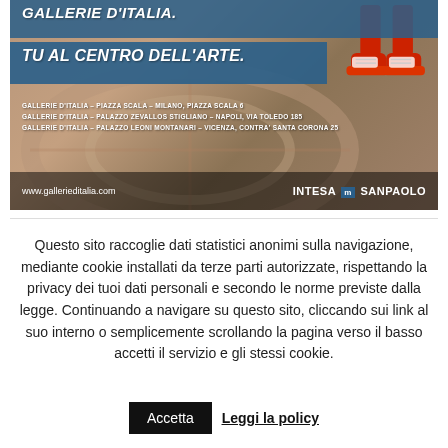[Figure (advertisement): Gallerie d'Italia advertisement banner. Shows text 'GALLERIE D'ITALIA.' and 'TU AL CENTRO DELL'ARTE.' on blue bars over a terracotta/brown decorative floor background with red sneakers visible. Lists three museum locations in Milano, Napoli, and Vicenza. Footer shows www.gallerieditalia.com and Intesa Sanpaolo logo.]
Questo sito raccoglie dati statistici anonimi sulla navigazione, mediante cookie installati da terze parti autorizzate, rispettando la privacy dei tuoi dati personali e secondo le norme previste dalla legge. Continuando a navigare su questo sito, cliccando sui link al suo interno o semplicemente scrollando la pagina verso il basso accetti il servizio e gli stessi cookie.
Accetta
Leggi la policy